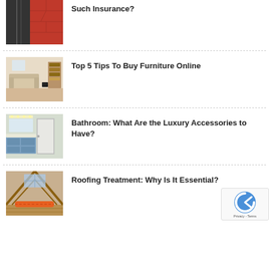[Figure (photo): Rooftop with black and red tiles]
Such Insurance?
[Figure (photo): Living room interior with furniture]
Top 5 Tips To Buy Furniture Online
[Figure (photo): Bathroom interior with cabinets]
Bathroom: What Are the Luxury Accessories to Have?
[Figure (photo): Attic or roofing interior]
Roofing Treatment: Why Is It Essential?